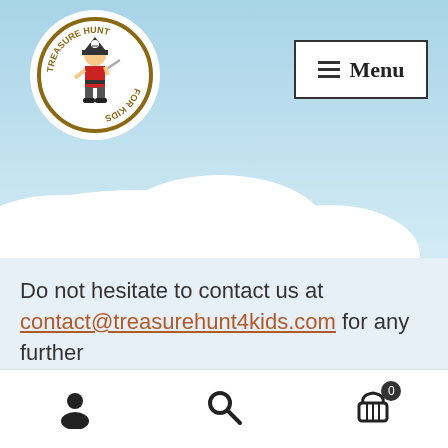[Figure (logo): Treasure Hunt for Kids circular logo with pirate character]
Menu
Do not hesitate to contact us at contact@treasurehunt4kids.com for any further questions.
Get 30% OFF on the 2nd game purchased (direct shopping cart discount).
Dismiss
Navigation icons: user, search, cart (0)